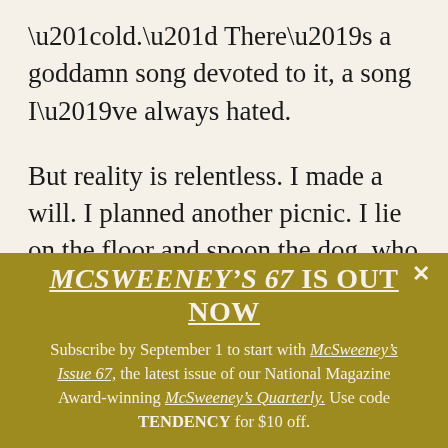“old.” There’s a goddamn song devoted to it, a song I’ve always hated.
But reality is relentless. I made a will. I planned another picnic. I lie on the floor and spoon the dog, who tucks his muzzle into my hand. I shout “Get a mask!” at runners in time-honored Upper West Side old-lady style. Strange but true, I look forward to chemo with Catherine again, first week of May, my
[Figure (other): Advertisement banner with dark golden/olive background. Header text: MCSWEENEY’S 67 IS OUT NOW (italic bold underlined). Body text: Subscribe by September 1 to start with McSweeney’s Issue 67, the latest issue of our National Magazine Award-winning McSweeney’s Quarterly. Use code TENDENCY for $10 off. Close button (x) in upper right.]